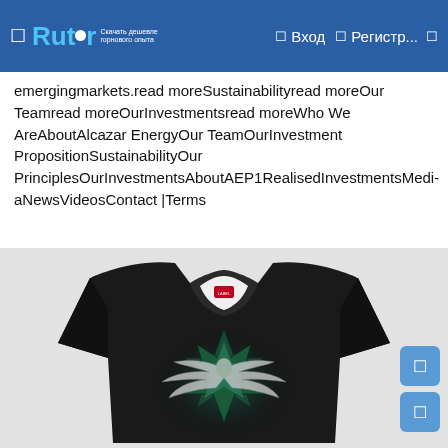Rutor — Вход — Регистр...
emergingmarkets.read moreSustainabilityread moreOur Teamread moreOurInvestmentsread moreWho We AreAboutAlcazar EnergyOur TeamOurInvestment PropositionSustainabilityOur PrinciplesOurInvestmentsAboutAEP1RealisedInvestmentsMediaNewsVideosContact |Terms
[Figure (photo): Black t-shirt with a dark teal/green star and winged eagle graphic design on the chest, displayed on a light gray background.]